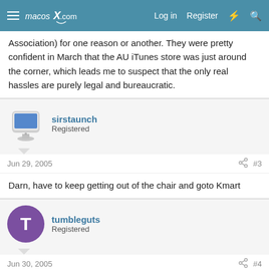macosX.com — Log in | Register
Association) for one reason or another. They were pretty confident in March that the AU iTunes store was just around the corner, which leads me to suspect that the only real hassles are purely legal and bureaucratic.
sirstaunch
Registered
Jun 29, 2005  #3
Darn, have to keep getting out of the chair and goto Kmart
tumbleguts
Registered
Jun 30, 2005  #4
Agreed.